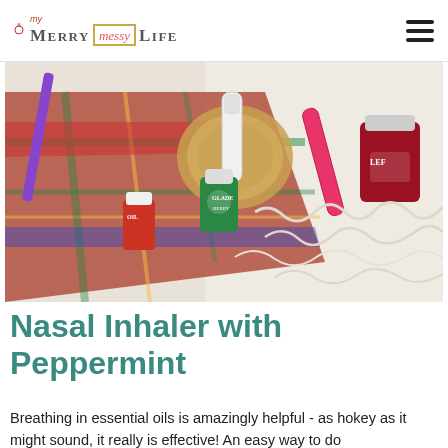my Merry messy Life
[Figure (photo): Flat lay photo of essential oil bottles (green and red labeled), a nasal inhaler tube, a pink inhaler, red/pink essential oil roll-on, a purple pen, arranged on a colorful plaid blanket and white fur rug with a wooden coaster.]
Nasal Inhaler with Peppermint
Breathing in essential oils is amazingly helpful - as hokey as it might sound, it really is effective! An easy way to do